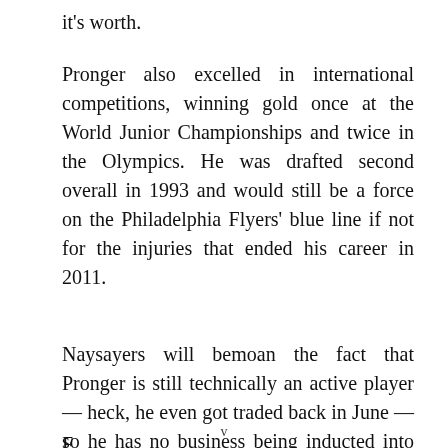it's worth.
Pronger also excelled in international competitions, winning gold once at the World Junior Championships and twice in the Olympics. He was drafted second overall in 1993 and would still be a force on the Philadelphia Flyers' blue line if not for the injuries that ended his career in 2011.
Naysayers will bemoan the fact that Pronger is still technically an active player — heck, he even got traded back in June — so he has no business being inducted into the Hockey Hall of F...
v